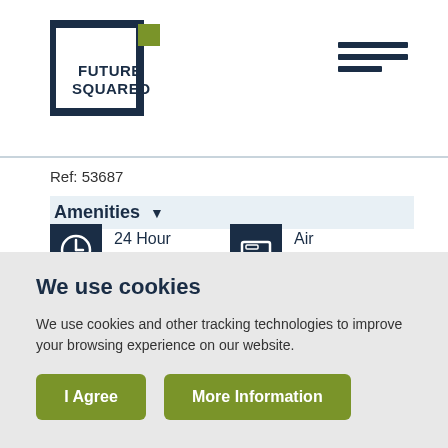[Figure (logo): Future Squared logo: dark navy square outline with olive green small square accent, text FUTURE SQUARED inside]
[Figure (other): Hamburger menu icon: three horizontal dark navy bars, third bar shorter]
Ref: 53687
Amenities ▼
24 Hour Access
Air Conditioning
We use cookies
We use cookies and other tracking technologies to improve your browsing experience on our website.
I Agree
More Information